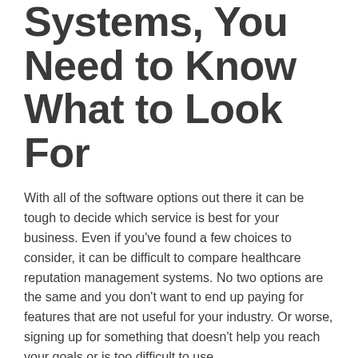Systems, You Need to Know What to Look For
With all of the software options out there it can be tough to decide which service is best for your business. Even if you've found a few choices to consider, it can be difficult to compare healthcare reputation management systems. No two options are the same and you don't want to end up paying for features that are not useful for your industry. Or worse, signing up for something that doesn't help you reach your goals or is too difficult to use.
Patient Satisfaction Is At The Core Of Reputation Management